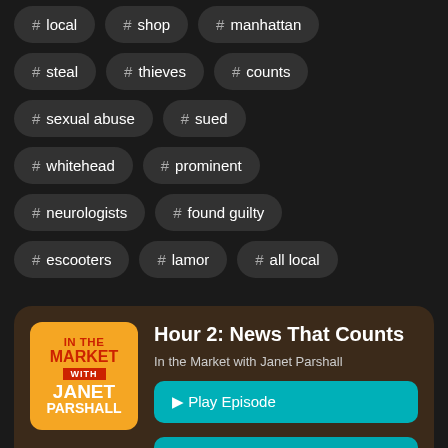# local
# shop
# manhattan
# steal
# thieves
# counts
# sexual abuse
# sued
# whitehead
# prominent
# neurologists
# found guilty
# escooters
# lamor
# all local
Hour 2: News That Counts
In the Market with Janet Parshall
Play Episode
Listen Later